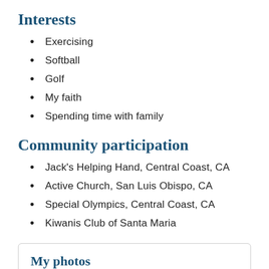Interests
Exercising
Softball
Golf
My faith
Spending time with family
Community participation
Jack's Helping Hand, Central Coast, CA
Active Church, San Luis Obispo, CA
Special Olympics, Central Coast, CA
Kiwanis Club of Santa Maria
My photos
2 albums